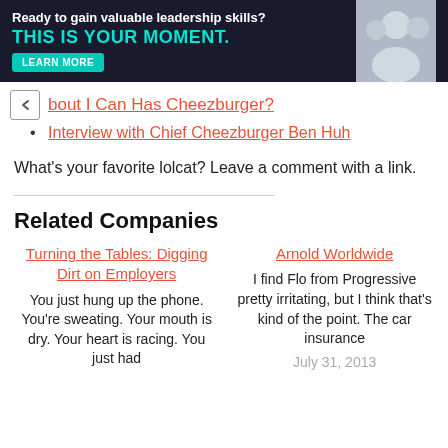[Figure (illustration): Advertisement banner with dark background. Text reads 'Ready to gain valuable leadership skills?' in white and 'THIS IS YOUR MOMENT.' in teal/cyan. A teal 'LEARN MORE' button. Right side shows a partial photo of people.]
bout I Can Has Cheezburger?
Interview with Chief Cheezburger Ben Huh
What's your favorite lolcat? Leave a comment with a link.
Related Companies
Turning the Tables: Digging Dirt on Employers
You just hung up the phone. You're sweating. Your mouth is dry. Your heart is racing. You just had
Arnold Worldwide
I find Flo from Progressive pretty irritating, but I think that's kind of the point. The car insurance
July 31, 2013